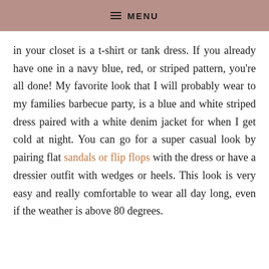≡ MENU
in your closet is a t-shirt or tank dress. If you already have one in a navy blue, red, or striped pattern, you're all done! My favorite look that I will probably wear to my families barbecue party, is a blue and white striped dress paired with a white denim jacket for when I get cold at night. You can go for a super casual look by pairing flat sandals or flip flops with the dress or have a dressier outfit with wedges or heels. This look is very easy and really comfortable to wear all day long, even if the weather is above 80 degrees.